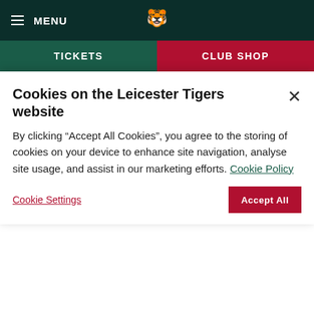MENU | Leicester Tigers logo
TICKETS | CLUB SHOP
Rugby News
Reffell included in Welsh squad
18 May 2022 12:31
[Figure (photo): Dark photo of player, partially visible]
Ref... squ... 18 M...
Cookies on the Leicester Tigers website
By clicking "Accept All Cookies", you agree to the storing of cookies on your device to enhance site navigation, analyse site usage, and assist in our marketing efforts. Cookie Policy